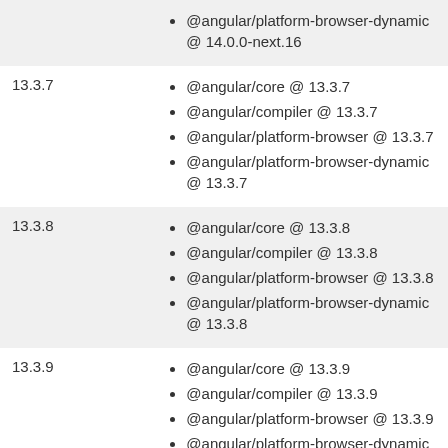| Version | Packages |
| --- | --- |
|  | @angular/platform-browser-dynamic @ 14.0.0-next.16 |
| 13.3.7 | @angular/core @ 13.3.7
@angular/compiler @ 13.3.7
@angular/platform-browser @ 13.3.7
@angular/platform-browser-dynamic @ 13.3.7 |
| 13.3.8 | @angular/core @ 13.3.8
@angular/compiler @ 13.3.8
@angular/platform-browser @ 13.3.8
@angular/platform-browser-dynamic @ 13.3.8 |
| 13.3.9 | @angular/core @ 13.3.9
@angular/compiler @ 13.3.9
@angular/platform-browser @ 13.3.9
@angular/platform-browser-dynamic @ 13.3.9 |